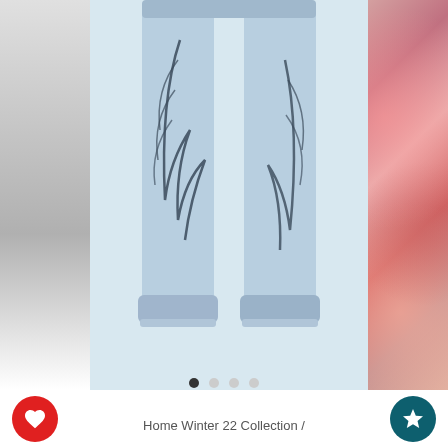[Figure (photo): Product image strip showing jeans with feather print (cuffed at bottom), gray panel on left, floral image on right, carousel dot indicators below.]
Home Winter 22 Collection /
Astra Jean - Mid Blue
☆☆☆☆☆ Write a review
♡ ADD TO WISHLIST
$220.00
or 4 interest-free payments of $32.50 with afterpay